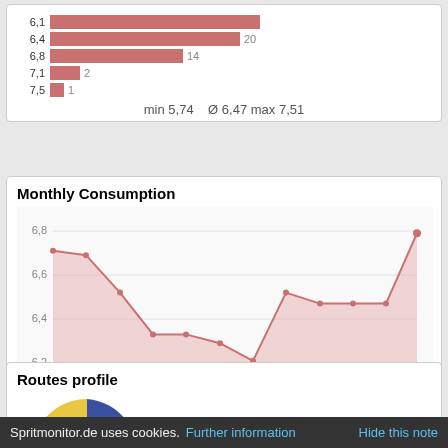[Figure (bar-chart): Consumption histogram (partial)]
min 5,74   Ø 6,47 max 7,51
Monthly Consumption
[Figure (area-chart): Monthly Consumption]
Routes profile
[Figure (pie-chart): Routes profile]
Spritmonitor.de uses cookies. Further information   Hide this note